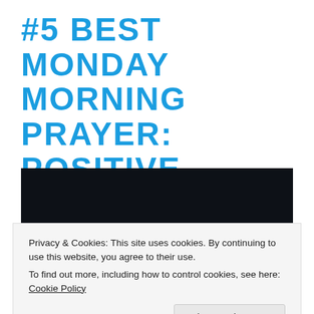#5 BEST MONDAY MORNING PRAYER: POSITIVE INFLUENCES
[Figure (photo): Dark navy/black background image, partially visible with a brown strip at the bottom suggesting a wooden surface or table.]
Privacy & Cookies: This site uses cookies. By continuing to use this website, you agree to their use.
To find out more, including how to control cookies, see here: Cookie Policy
Close and accept